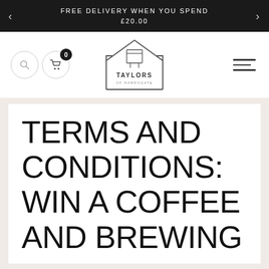FREE DELIVERY WHEN YOU SPEND £20.00
[Figure (logo): Taylors of Harrogate logo with stylized house/building outline and table icon]
TERMS AND CONDITIONS: WIN A COFFEE AND BREWING